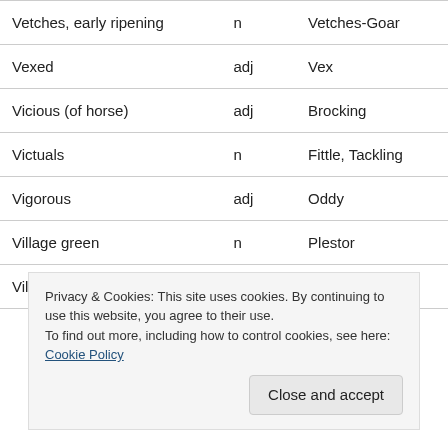| Term | Part of speech | Dialect word |
| --- | --- | --- |
| Vetches, early ripening | n | Vetches-Goar |
| Vexed | adj | Vex |
| Vicious (of horse) | adj | Brocking |
| Victuals | n | Fittle, Tackling |
| Vigorous | adj | Oddy |
| Village green | n | Plestor |
| Village in the | v | Remain |
Privacy & Cookies: This site uses cookies. By continuing to use this website, you agree to their use.
To find out more, including how to control cookies, see here: Cookie Policy